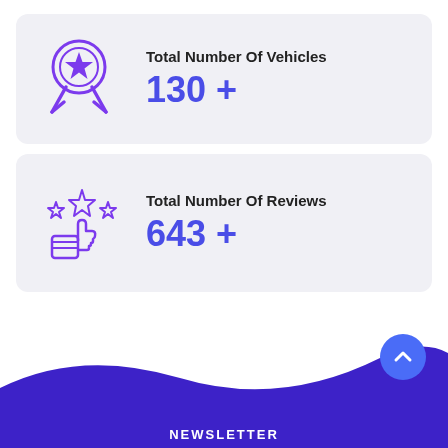[Figure (infographic): Card with award/medal icon and text: Total Number Of Vehicles 130 +]
Total Number Of Vehicles
130 +
[Figure (infographic): Card with thumbs-up/stars icon and text: Total Number Of Reviews 643 +]
Total Number Of Reviews
643 +
[Figure (illustration): Dark purple wave background at bottom of page with NEWSLETTER label and a blue scroll-to-top button]